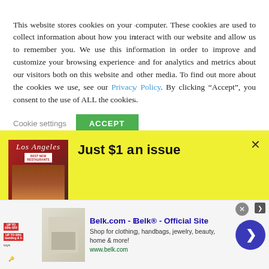This website stores cookies on your computer. These cookies are used to collect information about how you interact with our website and allow us to remember you. We use this information in order to improve and customize your browsing experience and for analytics and metrics about our visitors both on this website and other media. To find out more about the cookies we use, see our Privacy Policy. By clicking “Accept”, you consent to the use of ALL the cookies.
Cookie settings  ACCEPT
[Figure (other): Yellow promotional banner for Los Angeles magazine subscription. Shows magazine cover with 'Best New Restaurants' headline and food imagery. Headline reads 'Just $1 an issue'. Text below reads 'For the latest in local dining, arts and entertainment, a'. Has a close X button in top right.]
[Figure (other): Advertisement banner for Belk.com - Belk Official Site. Shows product image, text 'Shop for clothing, handbags, jewelry, beauty, home & more!' and URL www.belk.com. Has navigation arrow button on right side.]